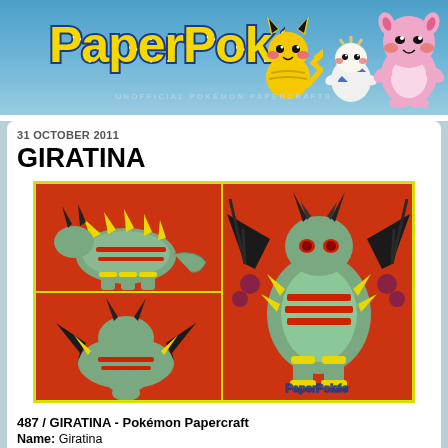[Figure (logo): PaperPokés logo with Pikachu, Togepi, and Clefairy/Blissey figures on a blue gradient background. Text reads UNOFFICIAL POKÉMON PAPERCRAFTS below the logo.]
31 OCTOBER 2011
GIRATINA
[Figure (photo): Four-panel photo collage with yellow border showing a Giratina Pokémon papercraft model from multiple angles against a red background. PaperPokés watermark visible in bottom right.]
487 / GIRATINA - Pokémon Papercraft
Name: Giratina
Type: Ghost/Dragon